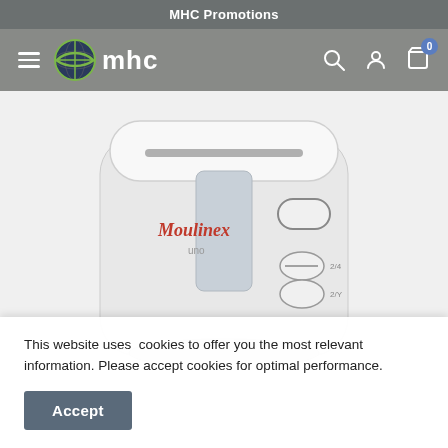MHC Promotions
[Figure (logo): MHC logo with globe icon and 'mhc' text, navigation bar with hamburger menu, search, account, and cart icons]
[Figure (photo): Moulinex Uno deep fryer / kitchen appliance, white with gray handle, control buttons visible, on light gray background]
This website uses cookies to offer you the most relevant information. Please accept cookies for optimal performance.
Accept